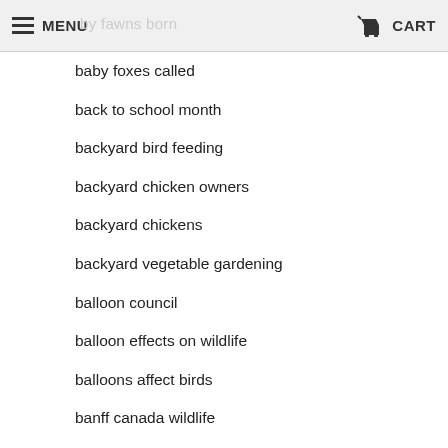MENU by fawns born CART
baby foxes called
back to school month
backyard bird feeding
backyard chicken owners
backyard chickens
backyard vegetable gardening
balloon council
balloon effects on wildlife
balloons affect birds
banff canada wildlife
banff fruit tree ban
banff national park
banff national park bison
banff waterton bison